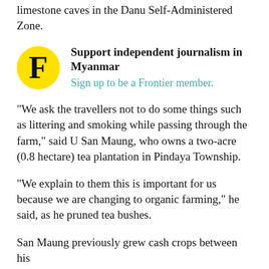limestone caves in the Danu Self-Administered Zone.
Support independent journalism in Myanmar
Sign up to be a Frontier member.
“We ask the travellers not to do some things such as littering and smoking while passing through the farm,” said U San Maung, who owns a two-acre (0.8 hectare) tea plantation in Pindaya Township.
“We explain to them this is important for us because we are changing to organic farming,” he said, as he pruned tea bushes.
San Maung previously grew cash crops between his